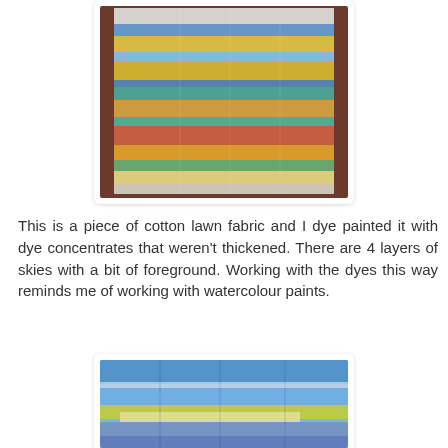[Figure (photo): Dye-painted cotton lawn fabric laid flat on a dark brown wooden surface, showing horizontal bands of blue, yellow, orange, green, teal, and white watercolour-like dye patterns.]
This is a piece of cotton lawn fabric and I dye painted it with dye concentrates that weren't thickened. There are 4 layers of skies with a bit of foreground. Working with the dyes this way reminds me of working with watercolour paints.
[Figure (photo): Close-up of dye-painted fabric showing blue, yellow, green, and white horizontal bands reminiscent of a landscape or sky painted with watercolour dyes.]